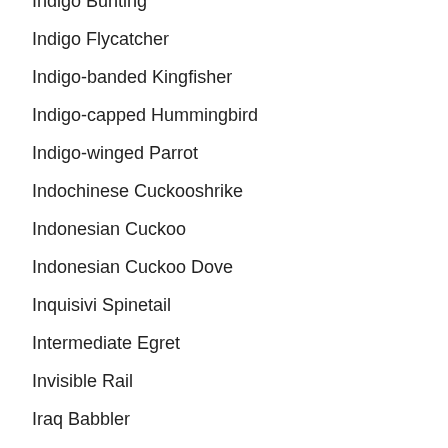Indigo Bunting
Indigo Flycatcher
Indigo-banded Kingfisher
Indigo-capped Hummingbird
Indigo-winged Parrot
Indochinese Cuckooshrike
Indonesian Cuckoo
Indonesian Cuckoo Dove
Inquisivi Spinetail
Intermediate Egret
Invisible Rail
Iraq Babbler
Irena Cyanogastra
Iringa Akalat
Iris Glossy-starling